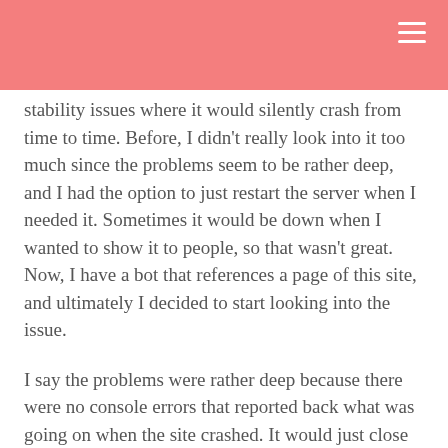stability issues where it would silently crash from time to time. Before, I didn't really look into it too much since the problems seem to be rather deep, and I had the option to just restart the server when I needed it. Sometimes it would be down when I wanted to show it to people, so that wasn't great. Now, I have a bot that references a page of this site, and ultimately I decided to start looking into the issue.
I say the problems were rather deep because there were no console errors that reported back what was going on when the site crashed. It would just close itself without warning. After